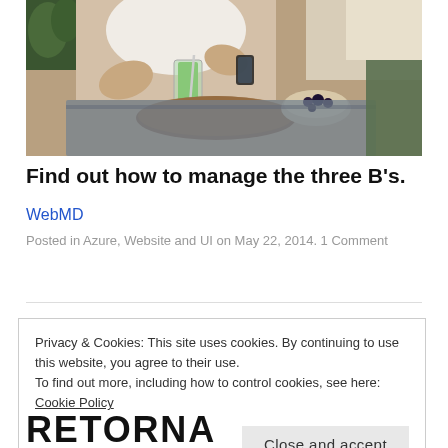[Figure (photo): Person in white tank top sitting at a table holding a green smoothie drink and a smartphone, with a wooden board and a bowl of dark berries on the table. Indoor setting with plants in background.]
Find out how to manage the three B's.
WebMD
Posted in Azure, Website and UI on May 22, 2014. 1 Comment
Privacy & Cookies: This site uses cookies. By continuing to use this website, you agree to their use.
To find out more, including how to control cookies, see here: Cookie Policy
Close and accept
RETORNA